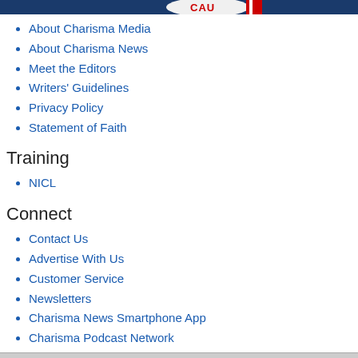[Figure (other): Partial view of a red and white CAUTION logo/image against a dark blue banner at top of page]
About Charisma Media
About Charisma News
Meet the Editors
Writers' Guidelines
Privacy Policy
Statement of Faith
Training
NICL
Connect
Contact Us
Advertise With Us
Customer Service
Newsletters
Charisma News Smartphone App
Charisma Podcast Network
Careers